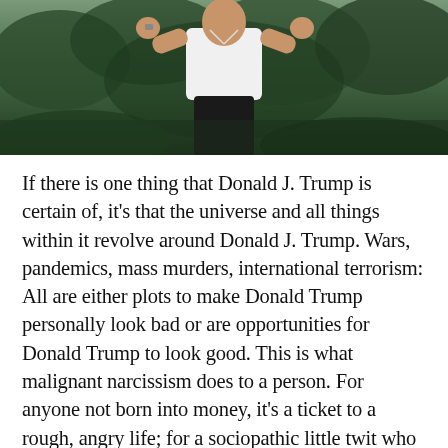[Figure (photo): Photo of a person wearing a white shirt and dark pants, standing outdoors with green foliage in the background, appearing to have fists raised.]
If there is one thing that Donald J. Trump is certain of, it's that the universe and all things within it revolve around Donald J. Trump. Wars, pandemics, mass murders, international terrorism: All are either plots to make Donald Trump personally look bad or are opportunities for Donald Trump to look good. This is what malignant narcissism does to a person. For anyone not born into money, it's a ticket to a rough, angry life; for a sociopathic little twit who can funnel enough of his wealthy father's cash into his own persona to support a lifelong stream of disposable, simpering yes-men, it's a path to lifelong, now-calcified delusions in which all of the above plots against him are not only obvious but “proven.”